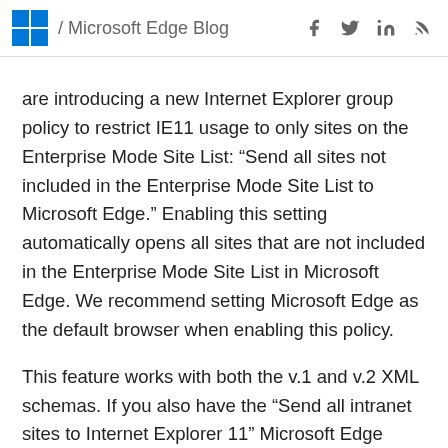/ Microsoft Edge Blog
are introducing a new Internet Explorer group policy to restrict IE11 usage to only sites on the Enterprise Mode Site List: “Send all sites not included in the Enterprise Mode Site List to Microsoft Edge.” Enabling this setting automatically opens all sites that are not included in the Enterprise Mode Site List in Microsoft Edge. We recommend setting Microsoft Edge as the default browser when enabling this policy.
This feature works with both the v.1 and v.2 XML schemas. If you also have the “Send all intranet sites to Internet Explorer 11” Microsoft Edge group policy enabled at the same time, then all intranet sites will continue to open in IE11. Note that as a best practice both Microsoft Edge and Internet Explorer 11 should